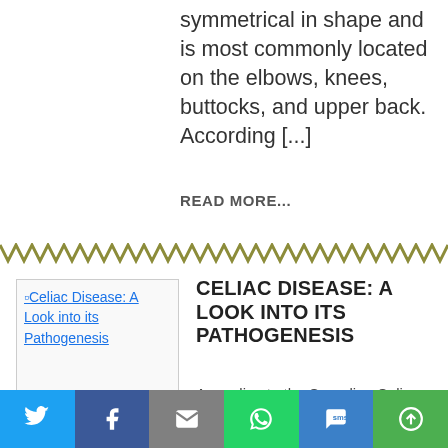symmetrical in shape and is most commonly located on the elbows, knees, buttocks, and upper back. According [...]
READ MORE...
[Figure (illustration): Decorative chevron/zigzag divider line in olive/khaki color]
[Figure (photo): Celiac Disease: A Look into its Pathogenesis (article thumbnail image link)]
CELIAC DISEASE: A LOOK INTO ITS PATHOGENESIS
According to the Canadian Celiac Association (CCA), the pathogenesis—that is the cause and development—of celiac disease consists of three
[Figure (infographic): Social sharing toolbar with icons: Twitter, Facebook, Email, WhatsApp, SMS, More]